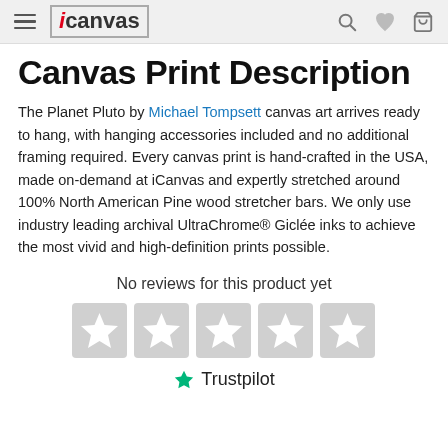iCanvas navigation header
Canvas Print Description
The Planet Pluto by Michael Tompsett canvas art arrives ready to hang, with hanging accessories included and no additional framing required. Every canvas print is hand-crafted in the USA, made on-demand at iCanvas and expertly stretched around 100% North American Pine wood stretcher bars. We only use industry leading archival UltraChrome® Giclée inks to achieve the most vivid and high-definition prints possible.
No reviews for this product yet
[Figure (other): Five empty grey star rating icons from Trustpilot]
Trustpilot